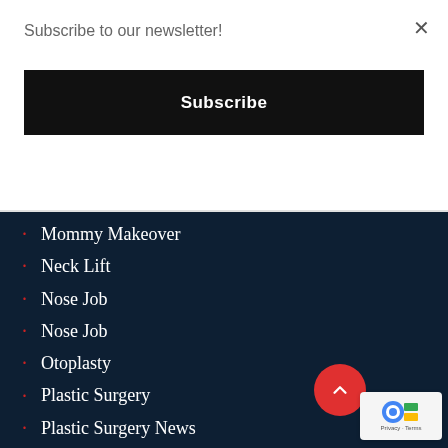Subscribe to our newsletter!
Subscribe
Mommy Makeover
Neck Lift
Nose Job
Nose Job
Otoplasty
Plastic Surgery
Plastic Surgery News
Plastic Surgery San Francisco
Press Release
Restylane
Rhinoplasty